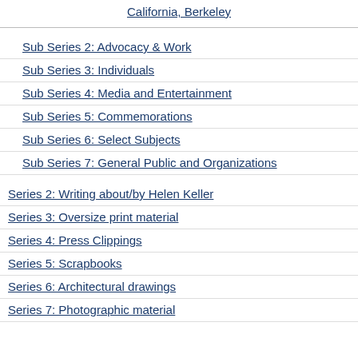California, Berkeley
Sub Series 2: Advocacy & Work
Sub Series 3: Individuals
Sub Series 4: Media and Entertainment
Sub Series 5: Commemorations
Sub Series 6: Select Subjects
Sub Series 7: General Public and Organizations
Series 2: Writing about/by Helen Keller
Series 3: Oversize print material
Series 4: Press Clippings
Series 5: Scrapbooks
Series 6: Architectural drawings
Series 7: Photographic material